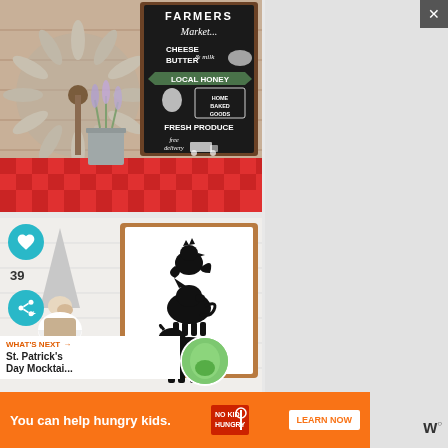[Figure (photo): Farmers market chalkboard sign with windmill decoration, lavender plants in galvanized bucket, red checkered tablecloth background. Sign reads: FARMERS Market CHEESE BUTTER & milk LOCAL HONEY fresh eggs HOME BAKED GOODS FRESH PRODUCE free delivery]
[Figure (photo): Farm animal silhouette framed sign showing chicken, pig, and cow stacked. Also shows gnome figure and ball garland in foreground.]
39
WHAT'S NEXT → St. Patrick's Day Mocktai...
[Figure (photo): Thumbnail image of a green mocktail drink for St. Patrick's Day]
You can help hungry kids.
[Figure (logo): NO KID HUNGRY logo in white on orange background]
LEARN NOW